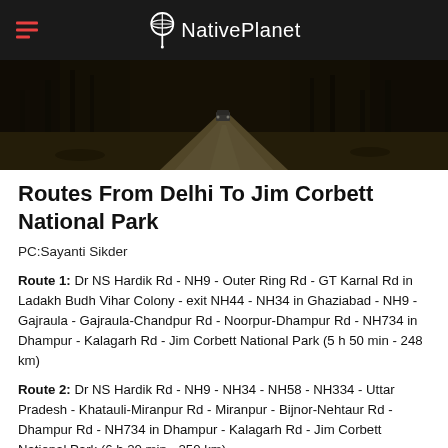NativePlanet
[Figure (photo): Forest road with a vehicle visible in the distance, dark trees on both sides, dirt/gravel path]
Routes From Delhi To Jim Corbett National Park
PC:Sayanti Sikder
Route 1: Dr NS Hardik Rd - NH9 - Outer Ring Rd - GT Karnal Rd in Ladakh Budh Vihar Colony - exit NH44 - NH34 in Ghaziabad - NH9 - Gajraula - Gajraula-Chandpur Rd - Noorpur-Dhampur Rd - NH734 in Dhampur - Kalagarh Rd - Jim Corbett National Park (5 h 50 min - 248 km)
Route 2: Dr NS Hardik Rd - NH9 - NH34 - NH58 - NH334 - Uttar Pradesh - Khatauli-Miranpur Rd - Miranpur - Bijnor-Nehtaur Rd - Dhampur Rd - NH734 in Dhampur - Kalagarh Rd - Jim Corbett National Park (6 h 20 min - 250 km)